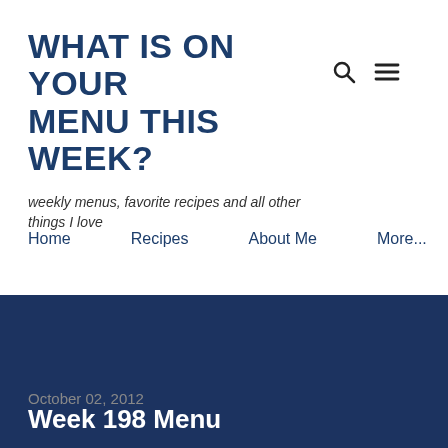WHAT IS ON YOUR MENU THIS WEEK?
weekly menus, favorite recipes and all other things I love
Home   Recipes   About Me   More...
Week 198 Menu
October 02, 2012